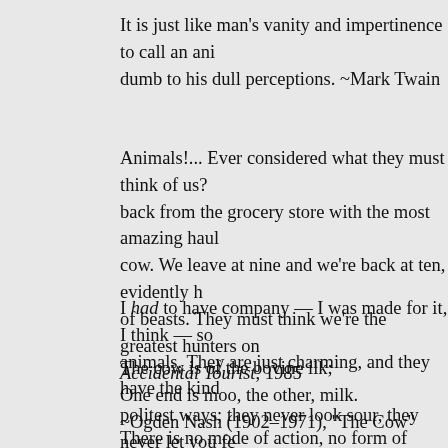It is just like man's vanity and impertinence to call an animal dumb to his dull perceptions. ~Mark Twain
Animals!... Ever considered what they must think of us? I mean, here we come back from the grocery store with the most amazing haul — chicken, pork, half a cow. We leave at nine and we're back at ten, evidently having caught an entire herd of beasts. They must think we're the greatest hunters on earth! ~Anne Tyler, Accidental Tourist, 1985
I had to have company — I was made for it, I think — so I made friends with the animals. They are just charming, and they have the kindest disposition and the politest ways; they never look sour, they never let you feel that you are intruding, they smile at you and wag their tail, if they've got one, and they are always ready for a romp or an excursion or anything you want to propose. I think they are perfect gentlemen. ~Mark Twain
The cow is of the bovine ilk;
One end is moo, the other, milk.
~Ogden Nash (1902–1971), "The Cow"
There is no mode of action, no form of emotion, that we...